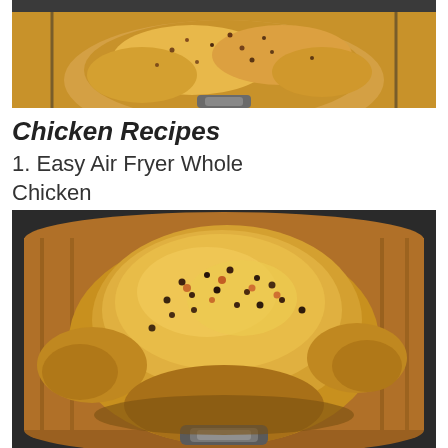[Figure (photo): Close-up photo of seasoned whole chicken in air fryer basket, cropped top portion showing golden-brown skin with spices]
Chicken Recipes
1. Easy Air Fryer Whole Chicken
[Figure (photo): Full photo of a seasoned whole chicken cooking in an air fryer basket with golden-brown crispy skin covered in black pepper and spices, visible air fryer basket handles]